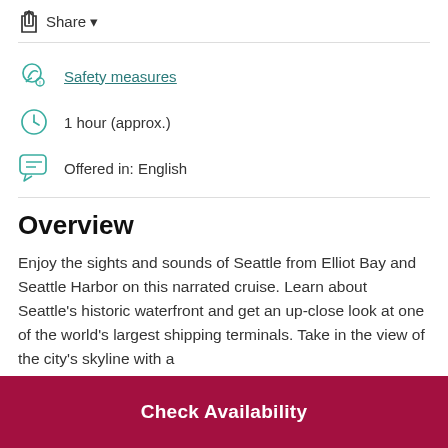Share
Safety measures
1 hour (approx.)
Offered in: English
Overview
Enjoy the sights and sounds of Seattle from Elliot Bay and Seattle Harbor on this narrated cruise. Learn about Seattle's historic waterfront and get an up-close look at one of the world's largest shipping terminals. Take in the view of the city's skyline with a
Check Availability